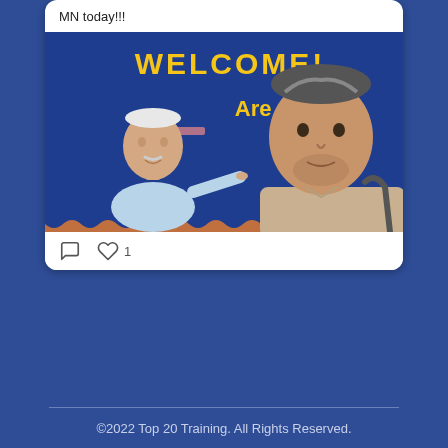MN today!!!
[Figure (photo): Two men standing in front of a blue bulletin board with yellow letters reading 'WELCOME! Are you a bel...' — an older man in a light blue polo shirt on the left pointing, and a younger man with gray-streaked hair in a tan shirt taking a selfie on the right.]
©2022 Top 20 Training. All Rights Reserved.